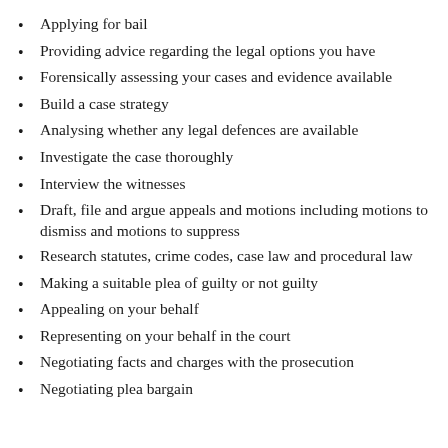Applying for bail
Providing advice regarding the legal options you have
Forensically assessing your cases and evidence available
Build a case strategy
Analysing whether any legal defences are available
Investigate the case thoroughly
Interview the witnesses
Draft, file and argue appeals and motions including motions to dismiss and motions to suppress
Research statutes, crime codes, case law and procedural law
Making a suitable plea of guilty or not guilty
Appealing on your behalf
Representing on your behalf in the court
Negotiating facts and charges with the prosecution
Negotiating plea bargain